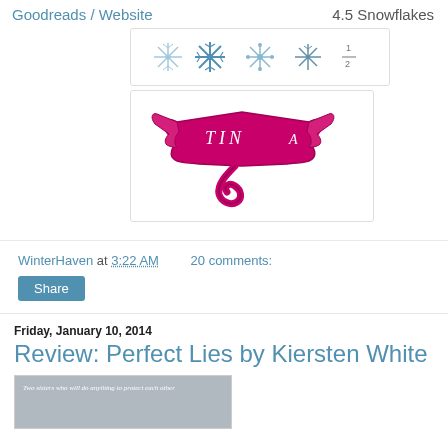Goodreads / Website
4.5 Snowflakes
[Figure (illustration): Four snowflake icons and a '1/2' fraction symbol in a bordered box, representing a 4.5 snowflake rating]
[Figure (illustration): A decorative pink/magenta ribbon banner with the text 'TIN A' written on it, curling at the bottom]
WinterHaven at 3:22 AM   20 comments:
Share
Friday, January 10, 2014
Review: Perfect Lies by Kiersten White
[Figure (photo): A book cover image with text 'Two sisters who will do anything to protect each other']